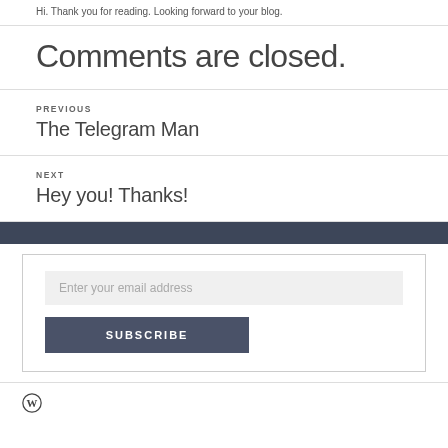Hi. Thank you for reading. Looking forward to your blog.
Comments are closed.
PREVIOUS
The Telegram Man
NEXT
Hey you! Thanks!
Enter your email address
SUBSCRIBE
[Figure (logo): WordPress logo icon]